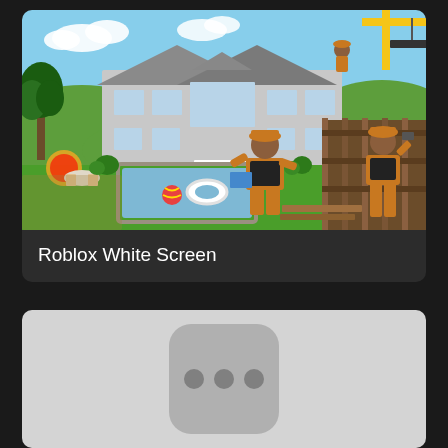[Figure (screenshot): Roblox game thumbnail showing a house under construction with cartoon characters (workers in yellow overalls and hard hats), a swimming pool, yellow crane, green yard, and a two-story suburban house.]
Roblox White Screen
[Figure (screenshot): Partially visible thumbnail showing a gray app icon with three dots (ellipsis) on a light gray background, suggesting a loading or placeholder state.]